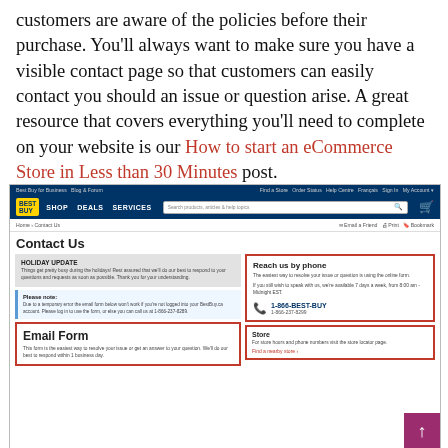customers are aware of the policies before their purchase. You'll always want to make sure you have a visible contact page so that customers can easily contact you should an issue or question arise. A great resource that covers everything you'll need to complete on your website is our How to start an eCommerce Store in Less than 30 Minutes post.
[Figure (screenshot): Screenshot of Best Buy Canada Contact Us page showing navigation bar, Contact Us heading, Holiday Update notice, Please note message about email form, Email Form section with red border, Reach us by phone section with red border showing 1-866-BEST-BUY number, and Store section with red border.]